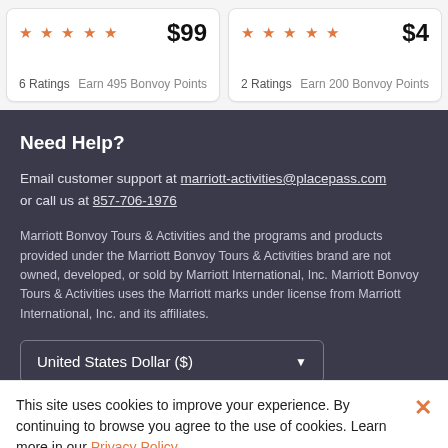★★★★★ $99 6 Ratings Earn 495 Bonvoy Points
★★★★★ $4 2 Ratings Earn 200 Bonvoy Points
Need Help?
Email customer support at marriott-activities@placepass.com or call us at 857-706-1976
Marriott Bonvoy Tours & Activities and the programs and products provided under the Marriott Bonvoy Tours & Activities brand are not owned, developed, or sold by Marriott International, Inc. Marriott Bonvoy Tours & Activities uses the Marriott marks under license from Marriott International, Inc. and its affiliates.
United States Dollar ($)
This site uses cookies to improve your experience. By continuing to browse you agree to the use of cookies. Learn more in our Privacy Policy.